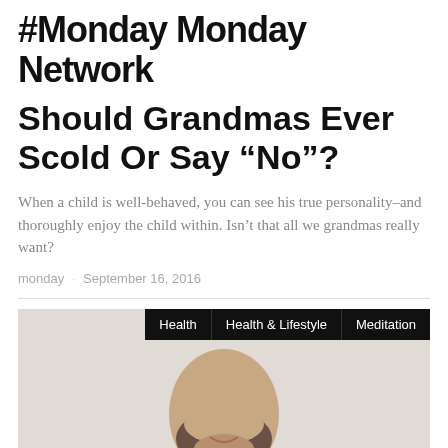#Monday Monday Network
Should Grandmas Ever Scold Or Say “No”?
When a child is well-behaved, you can see his true personality–and thoroughly enjoy the child within. Isn’t that all we grandmas really want?
monday · September 16, 2016
[Figure (photo): Man in a white shirt with hands clasped in prayer position, beard visible, face partially cropped. Navigation bar overlay with Health, Health & Lifestyle, Meditation links.]